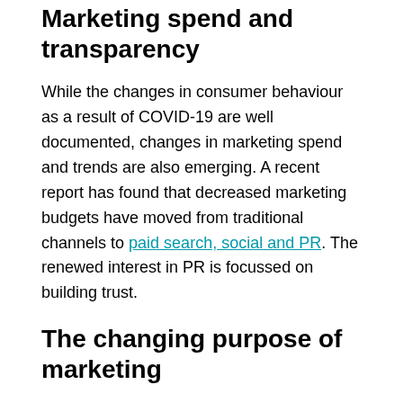Marketing spend and transparency
While the changes in consumer behaviour as a result of COVID-19 are well documented, changes in marketing spend and trends are also emerging. A recent report has found that decreased marketing budgets have moved from traditional channels to paid search, social and PR. The renewed interest in PR is focussed on building trust.
The changing purpose of marketing
Trust and transparency is part of a changing focus for the marketing function. Marketing is largely being relied upon to head the organisation's response to the pandemic. Consumers expect